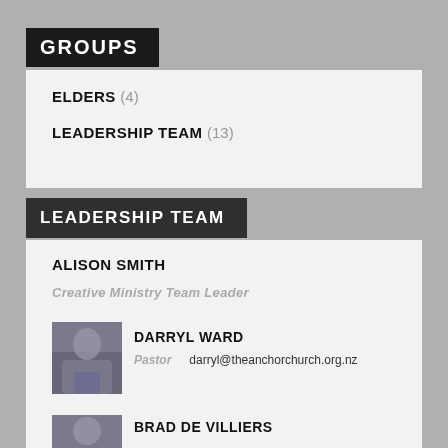GROUPS
ELDERS (4)
LEADERSHIP TEAM (13)
LEADERSHIP TEAM
ALISON SMITH
Creative Ministry Team Leader
DARRYL WARD
Pastor    darryl@theanchorchurch.org.nz
BRAD DE VILLIERS